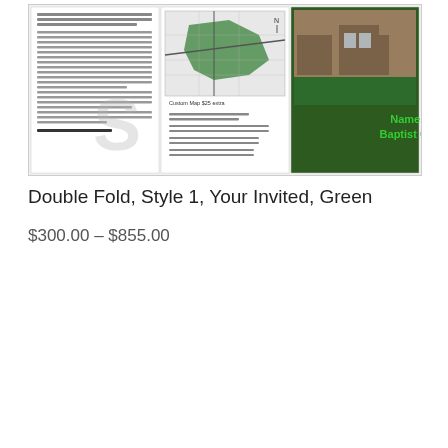[Figure (illustration): A product image showing a double-fold church brochure in green style. The brochure has three visible panels: left panel with Lorem Ipsum placeholder text and 'Pastor Name Here', center panel with a map labeled 'Custom Map $25 extra' and address/phone/email/web placeholder lines, and right panel showing a brick building photo with green text 'Name Here Baptist Church'.]
Double Fold, Style 1, Your Invited, Green
$300.00 – $855.00